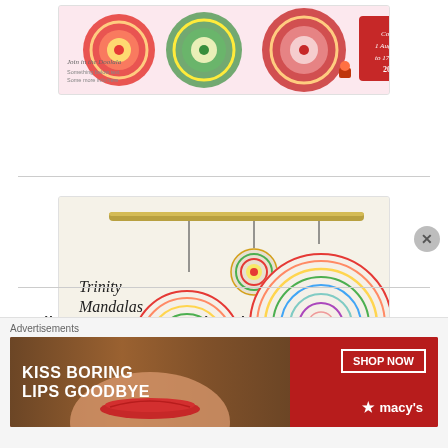[Figure (illustration): Top banner image showing colorful mandala decorations on a pink/white background with event text]
[Figure (illustration): Trinity Mandalas MAL promotional image showing three colorful crocheted mandalas hanging from a bamboo rod, with handwritten-style text 'Trinity Mandalas MAL' and the Broozing logo]
Follow me on Facebook
Advertisements
[Figure (photo): Macy's advertisement banner with red background showing a woman's face with red lips, text 'KISS BORING LIPS GOODBYE', 'SHOP NOW' button, and Macy's star logo]